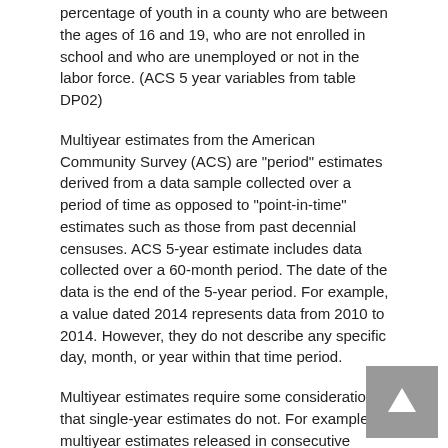percentage of youth in a county who are between the ages of 16 and 19, who are not enrolled in school and who are unemployed or not in the labor force. (ACS 5 year variables from table DP02)
Multiyear estimates from the American Community Survey (ACS) are "period" estimates derived from a data sample collected over a period of time as opposed to "point-in-time" estimates such as those from past decennial censuses. ACS 5-year estimate includes data collected over a 60-month period. The date of the data is the end of the 5-year period. For example, a value dated 2014 represents data from 2010 to 2014. However, they do not describe any specific day, month, or year within that time period.
Multiyear estimates require some considerations that single-year estimates do not. For example, multiyear estimates released in consecutive years consist mostly of overlapping years and shared data. The 2010-2014 ACS 5-year estimates share sample data from 2011 through 2014 with the 2011-2015 ACS 5-year estimates. Because of